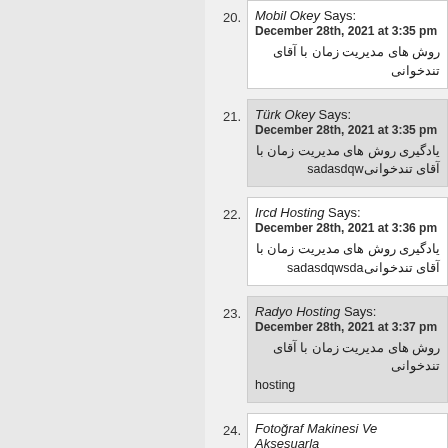20. Mobil Okey Says: December 28th, 2021 at 3:35 pm — [Persian text: روش های مدیریت زمان با آقای تندخوانی]
21. Türk Okey Says: December 28th, 2021 at 3:35 pm — [Persian text: یادگیری روش های مدیریت زمان با آقای تندخوانیsadasdqw]
22. Ircd Hosting Says: December 28th, 2021 at 3:36 pm — [Persian text: یادگیری روش های مدیریت زمان با آقای تندخوانیsadasdqwsda]
23. Radyo Hosting Says: December 28th, 2021 at 3:37 pm — [Persian text: روش های مدیریت زمان با آقای تندخوانی] hosting
24. Fotoğraf Makinesi Ve Aksesuarla...